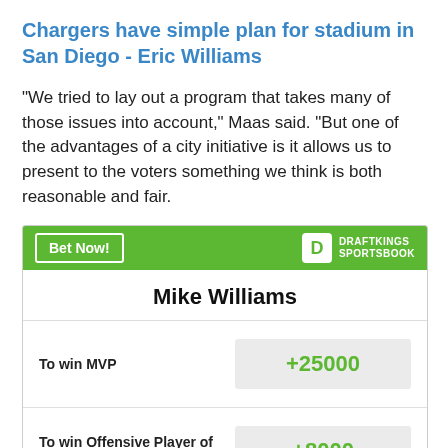Chargers have simple plan for stadium in San Diego - Eric Williams
"We tried to lay out a program that takes many of those issues into account," Maas said. "But one of the advantages of a city initiative is it allows us to present to the voters something we think is both reasonable and fair.
|  | Mike Williams |  |
| --- | --- | --- |
| To win MVP | +25000 |  |
| To win Offensive Player of the Year | +8000 |  |